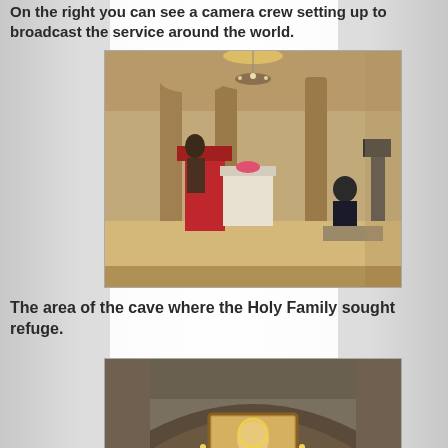On the right you can see a camera crew setting up to broadcast the service around the world.
[Figure (photo): Interior of a stone cave church/grotto with ancient columns, a red-draped altar/lectern, a person in robes at the podium, a nun seated on the right, and camera equipment visible on the far right for broadcasting.]
The area of the cave where the Holy Family sought refuge.
[Figure (photo): A cave grotto niche with rough stone walls, containing an icon painting of the Virgin Mary and Child surrounded by abundant floral arrangements of pink, red, and white flowers.]